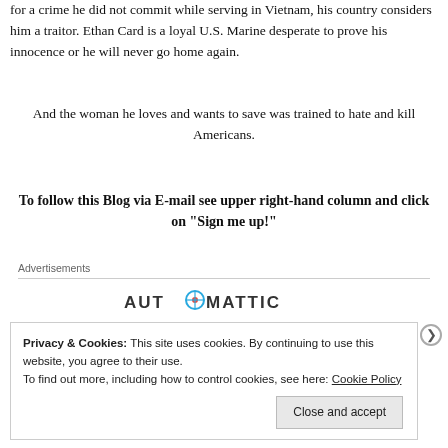for a crime he did not commit while serving in Vietnam, his country considers him a traitor. Ethan Card is a loyal U.S. Marine desperate to prove his innocence or he will never go home again.
And the woman he loves and wants to save was trained to hate and kill Americans.
To follow this Blog via E-mail see upper right-hand column and click on “Sign me up!”
Advertisements
[Figure (logo): Automattic logo with stylized compass/circle replacing the letter O]
Privacy & Cookies: This site uses cookies. By continuing to use this website, you agree to their use. To find out more, including how to control cookies, see here: Cookie Policy
Close and accept